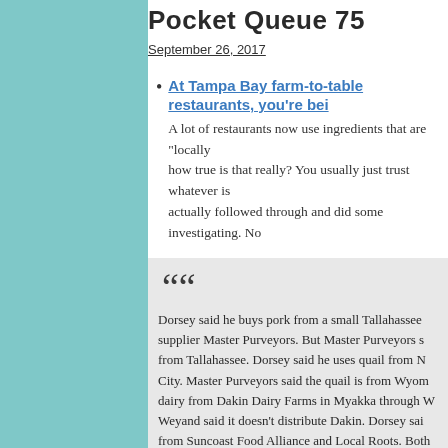Pocket Queue 75
September 26, 2017
At Tampa Bay farm-to-table restaurants, you're bei
A lot of restaurants now use ingredients that are "locally how true is that really? You usually just trust whatever is actually followed through and did some investigating. No
Dorsey said he buys pork from a small Tallahassee supplier Master Purveyors. But Master Purveyors s from Tallahassee. Dorsey said he uses quail from N City. Master Purveyors said the quail is from Wyom dairy from Dakin Dairy Farms in Myakka through W Weyand said it doesn't distribute Dakin. Dorsey sai from Suncoast Food Alliance and Local Roots. Both The Mill. He named three seafood suppliers. Two c Whitney and Son, said they had not sold to The Mil future.